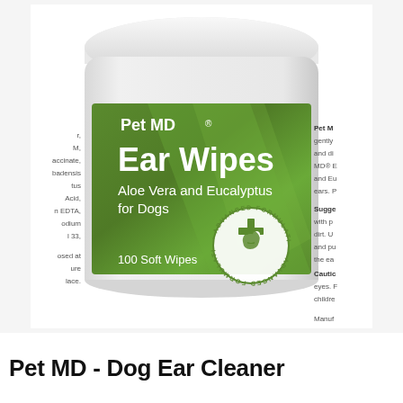[Figure (photo): Product photo of Pet MD Ear Wipes canister with green label showing 'Ear Wipes, Aloe Vera and Eucalyptus for Dogs, 100 Soft Wipes' with Advanced Formulation seal. Partially visible text on left and right sides of the canister showing ingredients and directions.]
Pet MD - Dog Ear Cleaner